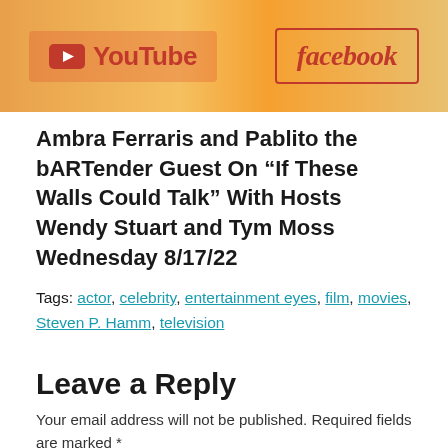[Figure (screenshot): Banner image showing YouTube and facebook logos on an orange/gradient background]
Ambra Ferraris and Pablito the bARTender Guest On “If These Walls Could Talk” With Hosts Wendy Stuart and Tym Moss Wednesday 8/17/22
Tags: actor, celebrity, entertainment eyes, film, movies, Steven P. Hamm, television
Leave a Reply
Your email address will not be published. Required fields are marked *
Comment *